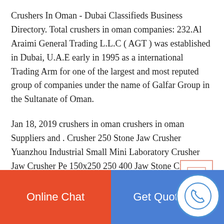Crushers In Oman - Dubai Classifieds Business Directory. Total crushers in oman companies: 232.Al Araimi General Trading L.L.C ( AGT ) was established in Dubai, U.A.E early in 1995 as a international Trading Arm for one of the largest and most reputed group of companies under the name of Galfar Group in the Sultanate of Oman.
Jan 18, 2019 crushers in oman crushers in oman Suppliers and . Crusher 250 Stone Jaw Crusher Yuanzhou Industrial Small Mini Laboratory Crusher Jaw Crusher Pe 150x250 250 400 Jaw Stone Crusher. 80 8 ton crusher full line ore mining quartz barite china stone crushing plant yigong price steel mish for sale in oman. from which the percentage of crushers in oman
Online Chat | Get Quotation